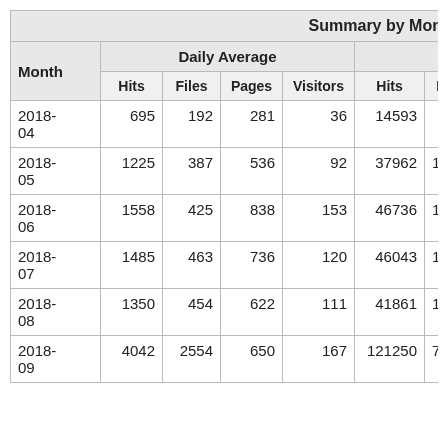| Month | Hits (Daily Avg) | Files (Daily Avg) | Pages (Daily Avg) | Visitors (Daily Avg) | Hits (Total) | Files (Total - truncated) |
| --- | --- | --- | --- | --- | --- | --- |
| 2018-04 | 695 | 192 | 281 | 36 | 14593 | 40… |
| 2018-05 | 1225 | 387 | 536 | 92 | 37962 | 119… |
| 2018-06 | 1558 | 425 | 838 | 153 | 46736 | 127… |
| 2018-07 | 1485 | 463 | 736 | 120 | 46043 | 143… |
| 2018-08 | 1350 | 454 | 622 | 111 | 41861 | 140… |
| 2018-09 | 4042 | 2554 | 650 | 167 | 121250 | 766… |